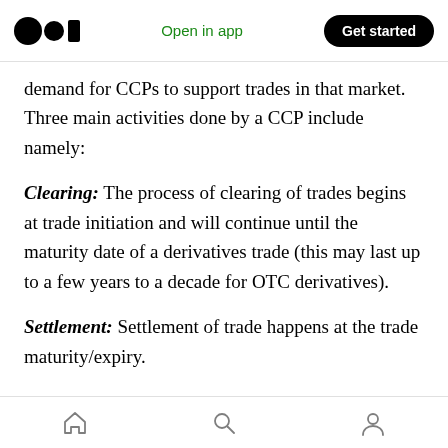Medium logo | Open in app | Get started
demand for CCPs to support trades in that market. Three main activities done by a CCP include namely:
Clearing: The process of clearing of trades begins at trade initiation and will continue until the maturity date of a derivatives trade (this may last up to a few years to a decade for OTC derivatives).
Settlement: Settlement of trade happens at the trade maturity/expiry.
Home | Search | Profile